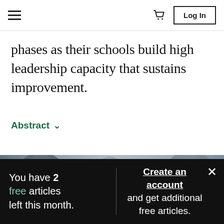≡  🛒  Log In
phases as their schools build high leadership capacity that sustains improvement.
Abstract ∨
[Figure (photo): Blurred photo of people, likely in a meeting or collaborative setting, seen from behind/side. Three figures visible.]
You have 2 free articles left this month.
Create an account and get additional free articles.